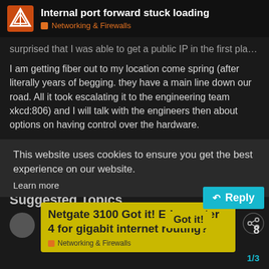Internal port forward stuck loading — Networking & Firewalls
surprised that I was able to get a public IP in the first place.
I am getting fiber out to my location come spring (after literally years of begging. they have a main line down our road. All it took escalating it to the engineering team xkcd:806) and I will talk with the engineers then about options on having control over the hardware.
Until then, I was hoping to accomplish this in just PfSense.
This website uses cookies to ensure you get the best experience on our website.
Learn more
Suggested Topics
Netgate 3100 vs Edgerouter 4 for gigabit internet routing?
Networking & Firewalls
Got it!
8
1/3